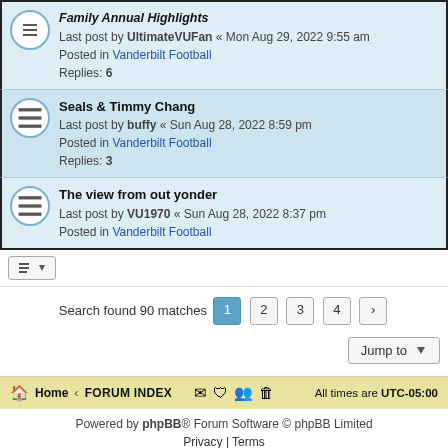Seals & Timmy Chang — Last post by buffy « Sun Aug 28, 2022 8:59 pm — Posted in Vanderbilt Football — Replies: 3
The view from out yonder — Last post by VU1970 « Sun Aug 28, 2022 8:37 pm — Posted in Vanderbilt Football
Search found 90 matches  1 2 3 4 >
Jump to
Home · FORUM INDEX   All times are UTC-05:00
Powered by phpBB® Forum Software © phpBB Limited
Privacy | Terms
AN ELITE CAFEMEDIA PUBLISHER